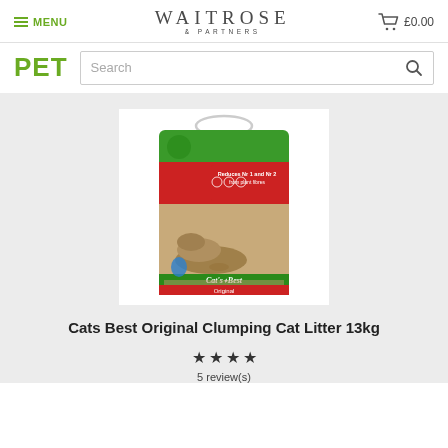MENU | WAITROSE & PARTNERS | £0.00
PET
[Figure (screenshot): Cats Best Original Clumping Cat Litter 13kg product bag with green and red packaging, featuring a cat image and Cat's Best Original branding]
Cats Best Original Clumping Cat Litter 13kg
★★★★
5 review(s)